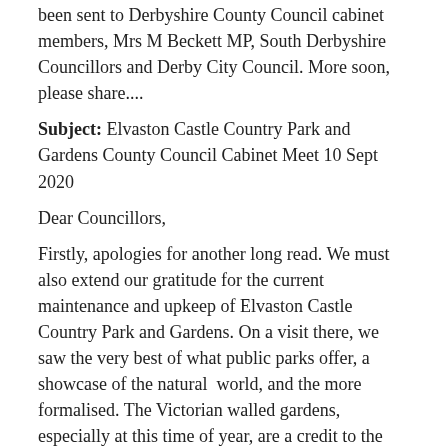been sent to Derbyshire County Council cabinet members, Mrs M Beckett MP, South Derbyshire Councillors and Derby City Council. More soon, please share....
Subject: Elvaston Castle Country Park and Gardens County Council Cabinet Meet 10 Sept 2020
Dear Councillors,
Firstly, apologies for another long read. We must also extend our gratitude for the current maintenance and upkeep of Elvaston Castle Country Park and Gardens. On a visit there, we saw the very best of what public parks offer, a showcase of the natural  world, and the more formalised. The Victorian walled gardens, especially at this time of year, are a credit to the hard work of gardeners and other workers. While there we saw an elderly gentleman in a wheelchair, clearly happy and many families with small children, who were running around the park. Please pass